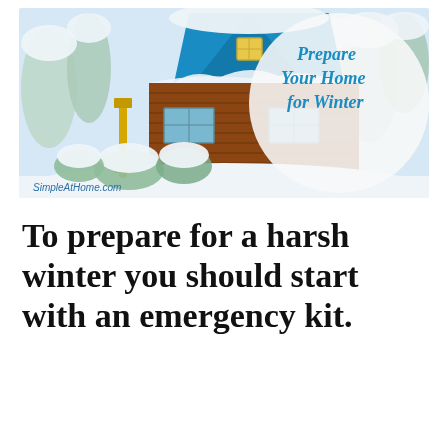[Figure (photo): A snow-covered house with a blue A-frame roof and a log cabin style lower section. Heavy snow covers the roof, trees, and surrounding area. A yellow gas pipe is visible on the left side. Overlaid text on the right side reads 'Prepare Your Home for Winter' in decorative teal/blue script. Website URL 'SimpleAtHome.com' appears in the lower left of the image.]
To prepare for a harsh winter you should start with an emergency kit.